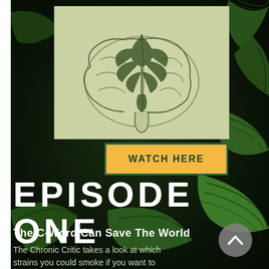[Figure (illustration): Vintage parchment-colored illustration of a human brain with a cannabis leaf overlaid on top, sketch/engraving style in olive green tones]
WATCH HERE
EPISODE ONE
The C-Word Can Save The World
The Chronic Critic takes a look at which strains you could smoke if you want to